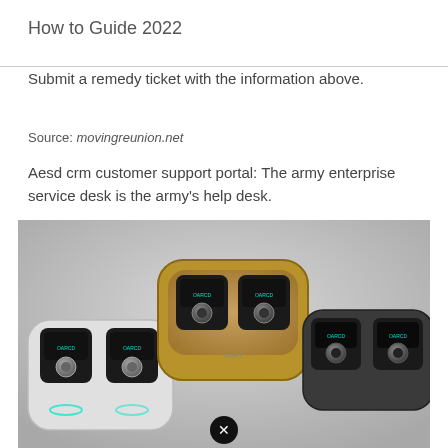How to Guide 2022
Submit a remedy ticket with the information above.
Source: movingreunion.net
Aesd crm customer support portal: The army enterprise service desk is the army's help desk.
[Figure (photo): Photo showing three electronic devices/controllers arranged on a surface — one white/silver with two buttons and a circular dial, one gold/brown with wood grain finish with two buttons and dials, and one dark gray/black with two buttons and a circular dial. Each device has small screens showing logos.]